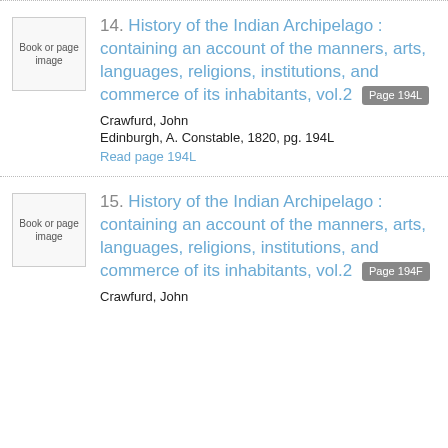14. History of the Indian Archipelago : containing an account of the manners, arts, languages, religions, institutions, and commerce of its inhabitants, vol.2 [Page 194L] Crawfurd, John Edinburgh, A. Constable, 1820, pg. 194L Read page 194L
15. History of the Indian Archipelago : containing an account of the manners, arts, languages, religions, institutions, and commerce of its inhabitants, vol.2 [Page 194F] Crawfurd, John